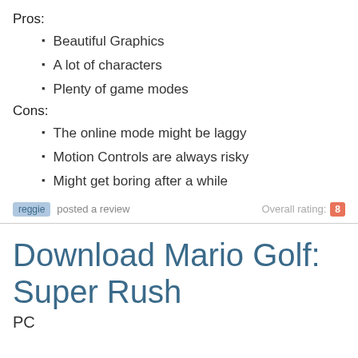Pros:
Beautiful Graphics
A lot of characters
Plenty of game modes
Cons:
The online mode might be laggy
Motion Controls are always risky
Might get boring after a while
reggie posted a review   Overall rating: 8
Download Mario Golf: Super Rush
PC